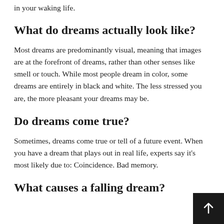in your waking life.
What do dreams actually look like?
Most dreams are predominantly visual, meaning that images are at the forefront of dreams, rather than other senses like smell or touch. While most people dream in color, some dreams are entirely in black and white. The less stressed you are, the more pleasant your dreams may be.
Do dreams come true?
Sometimes, dreams come true or tell of a future event. When you have a dream that plays out in real life, experts say it's most likely due to: Coincidence. Bad memory.
What causes a falling dream?